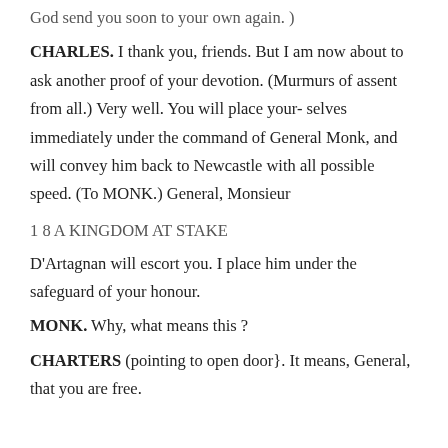God send you soon to your own again.)
CHARLES. I thank you, friends. But I am now about to ask another proof of your devotion. (Murmurs of assent from all.) Very well. You will place yourselves immediately under the command of General Monk, and will convey him back to Newcastle with all possible speed. (To MONK.) General, Monsieur
1 8 A KINGDOM AT STAKE
D'Artagnan will escort you. I place him under the safeguard of your honour.
MONK. Why, what means this ?
CHARTERS (pointing to open door}. It means, General, that you are free.